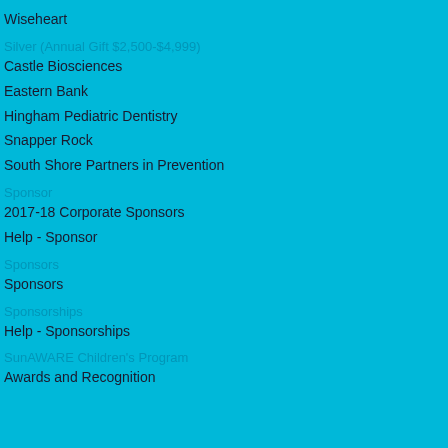Wiseheart
Silver (Annual Gift $2,500-$4,999)
Castle Biosciences
Eastern Bank
Hingham Pediatric Dentistry
Snapper Rock
South Shore Partners in Prevention
Sponsor
2017-18 Corporate Sponsors
Help - Sponsor
Sponsors
Sponsors
Sponsorships
Help - Sponsorships
SunAWARE Children's Program
Awards and Recognition